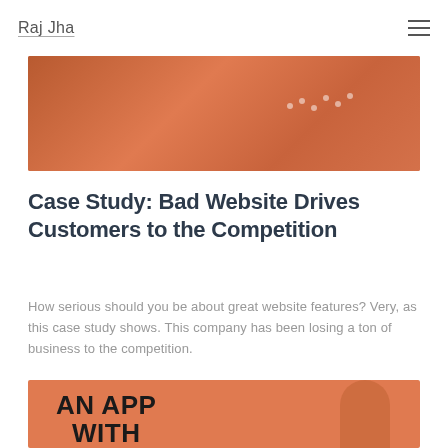Raj Jha
[Figure (photo): Orange/coral colored banner image with abstract shapes and dotted pattern on the right side]
Case Study: Bad Website Drives Customers to the Competition
How serious should you be about great website features? Very, as this case study shows. This company has been losing a ton of business to the competition.
[Figure (photo): Orange banner image with text 'AN APP WITH' in large bold black letters and a silhouette of a person on the right]